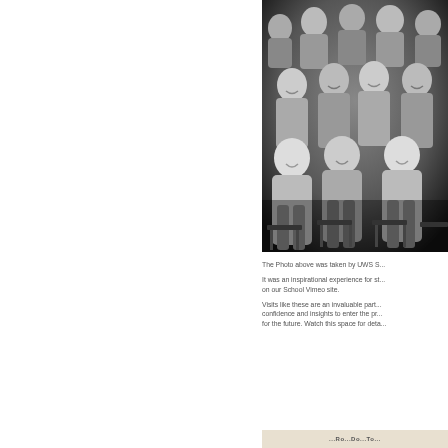[Figure (photo): Black and white group photo of students and staff, multiple rows of people smiling at a formal or academic event. Partially cropped on right side.]
The Photo above was taken by UWS S...
It was an inspirational experience for st... on our School Vimeo site.
Visits like these are an invaluable part... confidence and insights to enter the pr... for the future. Watch this space for deta...